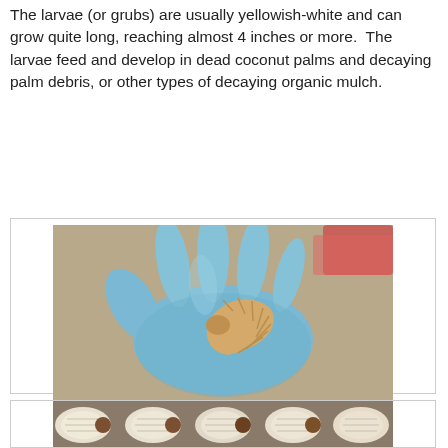The larvae (or grubs) are usually yellowish-white and can grow quite long, reaching almost 4 inches or more. The larvae feed and develop in dead coconut palms and decaying palm debris, or other types of decaying organic mulch.
[Figure (photo): A gloved hand (blue latex glove) holding a CRB (coconut rhinoceros beetle) larva, which is a large, curved, segmented yellowish-white grub.]
A CRB larva in a gloved hand.
[Figure (photo): Multiple CRB larvae (grubs) clustered together, showing their white segmented bodies with brown heads.]